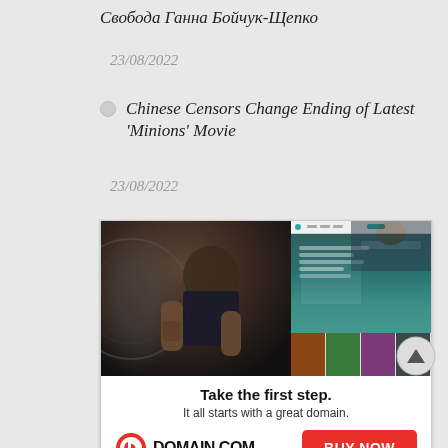Свобода Ганна Бойчук-Щепко
23/08/2022
Chinese Censors Change Ending of Latest 'Minions' Movie
23/08/2022
[Figure (photo): Advertisement banner for Domain.com showing a man repairing a bicycle and a website screenshot overlay. Bottom section reads 'Take the first step. It all starts with a great domain.' with Domain.com logo and a red BUY NOW button.]